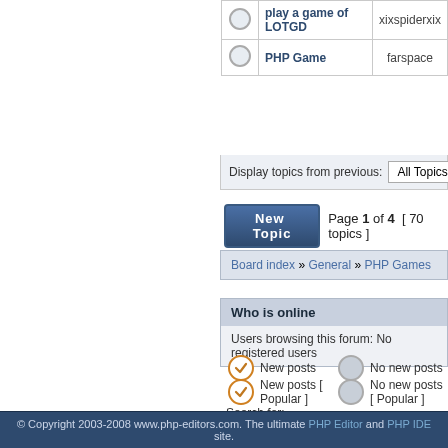|  | Topic | Author |
| --- | --- | --- |
| ○ | play a game of LOTGD | xixspiderxix |
| ○ | PHP Game | farspace |
Display topics from previous: All Topics
New Topic  Page 1 of 4  [ 70 topics ]
Board index » General » PHP Games
Who is online
Users browsing this forum: No registered users
New posts
No new posts
New posts [ Popular ]
No new posts [ Popular ]
New posts [ Locked ]
No new posts [ Locked ]
Search for:  Go  Jump to:
© Copyright 2003-2008 www.php-editors.com. The ultimate PHP Editor and PHP IDE site.